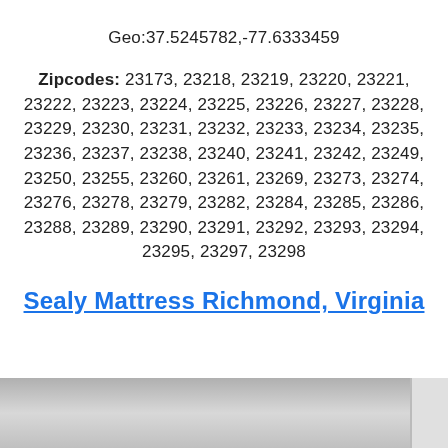Geo:37.5245782,-77.6333459
Zipcodes: 23173, 23218, 23219, 23220, 23221, 23222, 23223, 23224, 23225, 23226, 23227, 23228, 23229, 23230, 23231, 23232, 23233, 23234, 23235, 23236, 23237, 23238, 23240, 23241, 23242, 23249, 23250, 23255, 23260, 23261, 23269, 23273, 23274, 23276, 23278, 23279, 23282, 23284, 23285, 23286, 23288, 23289, 23290, 23291, 23292, 23293, 23294, 23295, 23297, 23298
Sealy Mattress Richmond, Virginia
[Figure (photo): Partial photo strip at the bottom of the page, appears to show a mattress or bedroom product image, partially visible.]